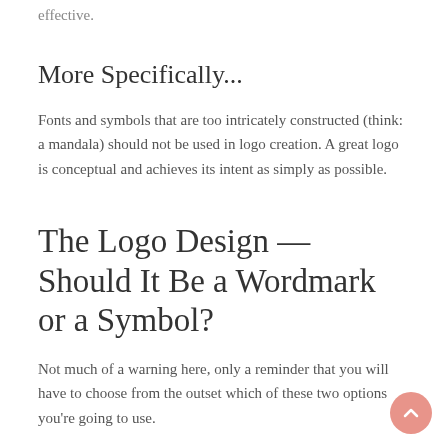effective.
More Specifically...
Fonts and symbols that are too intricately constructed (think: a mandala) should not be used in logo creation. A great logo is conceptual and achieves its intent as simply as possible.
The Logo Design — Should It Be a Wordmark or a Symbol?
Not much of a warning here, only a reminder that you will have to choose from the outset which of these two options you're going to use.
The general tenet is: go wordmark if you're in the